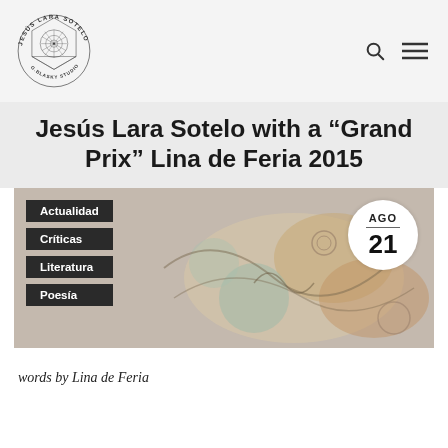Jesús Lara Sotelo G.Blasky Studio (logo)
Jesús Lara Sotelo with a “Grand Prix” Lina de Feria 2015
[Figure (photo): Decorative Mexican folk art image with tags: Actualidad, Críticas, Literatura, Poesía and date badge AGO 21]
words by Lina de Feria